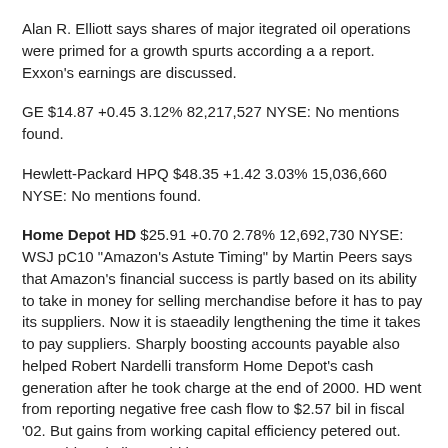Alan R. Elliott says shares of major itegrated oil operations were primed for a growth spurts according a a report. Exxon's earnings are discussed.
GE $14.87 +0.45 3.12% 82,217,527 NYSE: No mentions found.
Hewlett-Packard HPQ $48.35 +1.42 3.03% 15,036,660 NYSE: No mentions found.
Home Depot HD $25.91 +0.70 2.78% 12,692,730 NYSE: WSJ pC10 "Amazon's Astute Timing" by Martin Peers says that Amazon's financial success is partly based on its ability to take in money for selling merchandise before it has to pay its suppliers. Now it is staeadily lengthening the time it takes to pay suppliers. Sharply boosting accounts payable also helped Robert Nardelli transform Home Depot's cash generation after he took charge at the end of 2000. HD went from reporting negative free cash flow to $2.57 bil in fiscal '02. But gains from working capital efficiency petered out. Something similar could happen to Amazon.